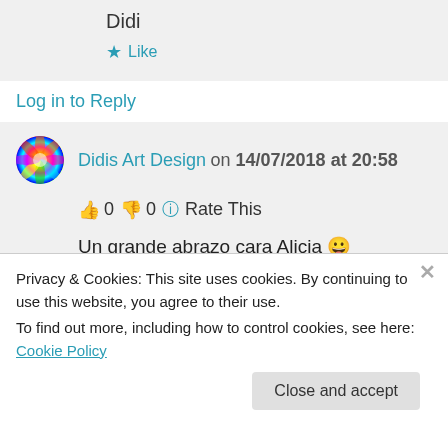Didi
★ Like
Log in to Reply
Didis Art Design on 14/07/2018 at 20:58
👍 0 👎 0 ℹ Rate This
Un grande abrazo cara Alicia 🙂
★ Like
Privacy & Cookies: This site uses cookies. By continuing to use this website, you agree to their use.
To find out more, including how to control cookies, see here: Cookie Policy
Close and accept